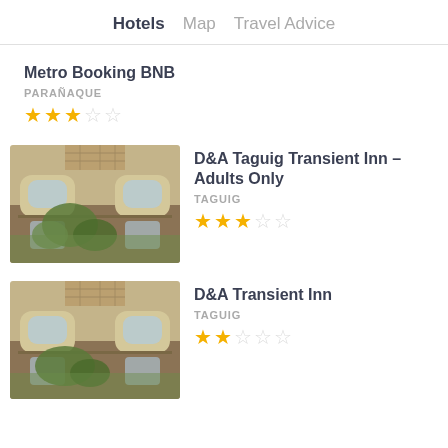Hotels  Map  Travel Advice
Metro Booking BNB
PARAÑAQUE
★★★☆☆
[Figure (photo): Exterior photo of D&A Taguig Transient Inn building facade, two-storey building with arched windows and trees]
D&A Taguig Transient Inn – Adults Only
TAGUIG
★★★☆☆
[Figure (photo): Exterior photo of D&A Transient Inn building facade, same building with arched windows and vegetation]
D&A Transient Inn
TAGUIG
★★☆☆☆